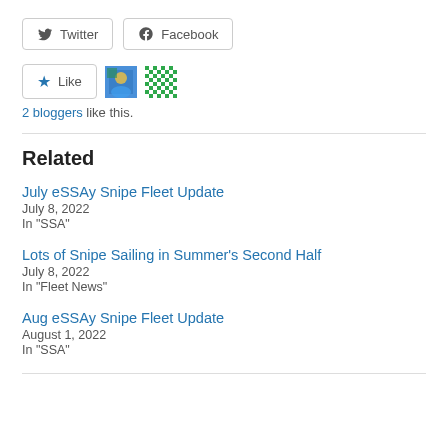[Figure (other): Social share buttons: Twitter and Facebook]
[Figure (other): Like button with two blogger avatars]
2 bloggers like this.
Related
July eSSAy Snipe Fleet Update
July 8, 2022
In "SSA"
Lots of Snipe Sailing in Summer's Second Half
July 8, 2022
In "Fleet News"
Aug eSSAy Snipe Fleet Update
August 1, 2022
In "SSA"